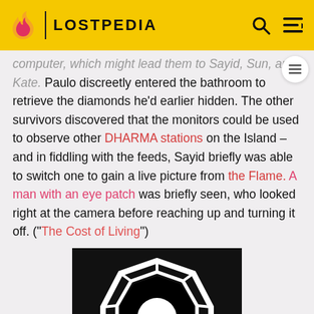LOSTPEDIA
computer, which might lead them to Sayid, Sun, and Kate. Paulo discreetly entered the bathroom to retrieve the diamonds he'd earlier hidden. The other survivors discovered that the monitors could be used to observe other DHARMA stations on the Island – and in fiddling with the feeds, Sayid briefly was able to switch one to gain a live picture from the Flame. A man with an eye patch was briefly seen, who looked right at the camera before reaching up and turning it off. ("The Cost of Living")
[Figure (photo): Black background image showing the DHARMA Initiative Pearl Station logo — a white octagonal shape with an inner circle, resembling the Bagua symbol. Caption reads: ORIENTATION · STATION 5 · THE PEARL]